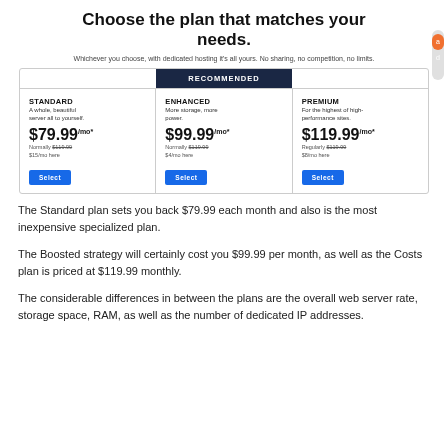Choose the plan that matches your needs.
Whichever you choose, with dedicated hosting it’s all yours. No sharing, no competition, no limits.
| STANDARD | ENHANCED | PREMIUM |
| --- | --- | --- |
| A whole, beautiful server all to yourself. | More storage, more power. | For the highest of high-performance sites. |
| $79.99/mo* | $99.99/mo* | $119.99/mo* |
| Normally $119.99
$15/mo here | Normally $119.99
$4/mo here | Regularly $119.99
$8/mo here |
| Select | Select | Select |
The Standard plan sets you back $79.99 each month and also is the most inexpensive specialized plan.
The Boosted strategy will certainly cost you $99.99 per month, as well as the Costs plan is priced at $119.99 monthly.
The considerable differences in between the plans are the overall web server rate, storage space, RAM, as well as the number of dedicated IP addresses.